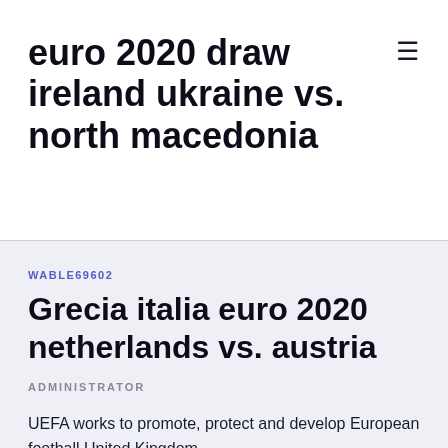euro 2020 draw ireland ukraine vs. north macedonia
WABLE69602
Grecia italia euro 2020 netherlands vs. austria
ADMINISTRATOR
UEFA works to promote, protect and develop European football United Kingdom.